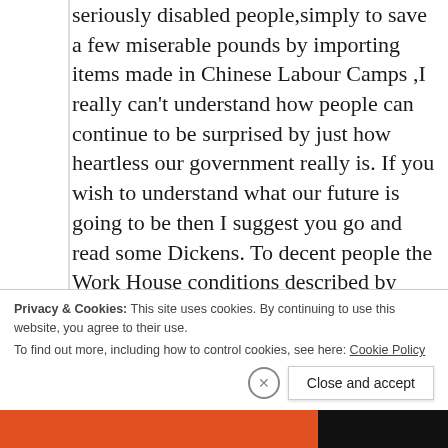seriously disabled people,simply to save a few miserable pounds by importing items made in Chinese Labour Camps ,I really can't understand how people can continue to be surprised by just how heartless our government really is. If you wish to understand what our future is going to be then I suggest you go and read some Dickens. To decent people the Work House conditions described by Dickens are a admonition,to our present ruling elite they are a manifesto promise to be proud of!
It is really very simple,either the majority stick
Privacy & Cookies: This site uses cookies. By continuing to use this website, you agree to their use.
To find out more, including how to control cookies, see here: Cookie Policy
Close and accept